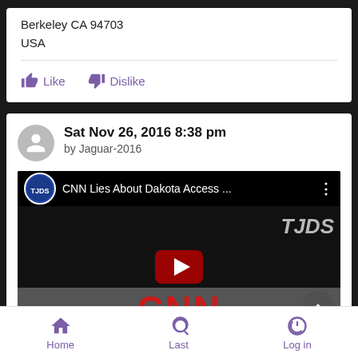Berkeley CA 94703
USA
[Figure (screenshot): Like and Dislike buttons with purple thumbs-up and thumbs-down icons]
Sat Nov 26, 2016 8:38 pm
by Jaguar-2016
[Figure (screenshot): YouTube video thumbnail for 'CNN Lies About Dakota Access ...' from The Jimmy Dore Show, with play button and CNN logo visible]
Home   Last   Log in